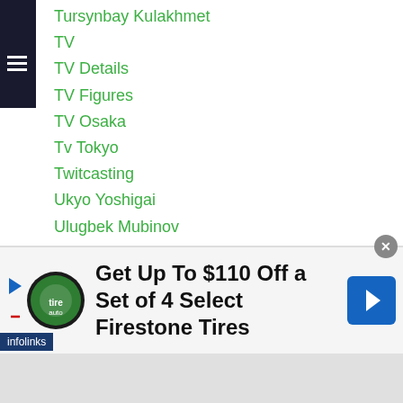Tursynbay Kulakhmet
TV
TV Details
TV Figures
TV Osaka
Tv Tokyo
Twitcasting
Ukyo Yoshigai
Ulugbek Mubinov
Ulugbek Sobirov
Umi Ishikawa
Unification
Upset
Upset Of The Year
Upset Of The Year Contender 2020
Upset Of The Year Contender 2021
[Figure (screenshot): Advertisement banner: 'Get Up To $110 Off a Set of 4 Select Firestone Tires' with Tire & Auto logo and blue arrow icon. Infolinks label visible.]